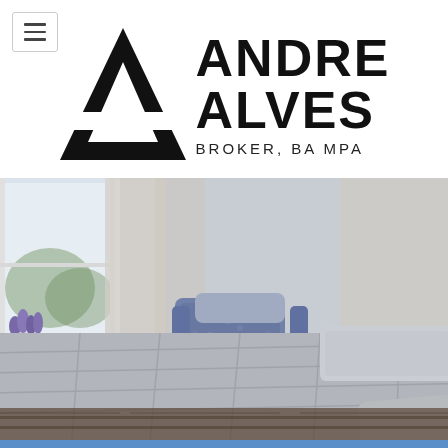[Figure (logo): Andre Alves Broker BA MPA logo with large A triangle mark and text]
[Figure (photo): Elegant bedroom interior with grey quilted bedding, blue patterned armchair, sheer curtains, window with greenery outside, purple flower arrangement on side table, dark hardwood floor]